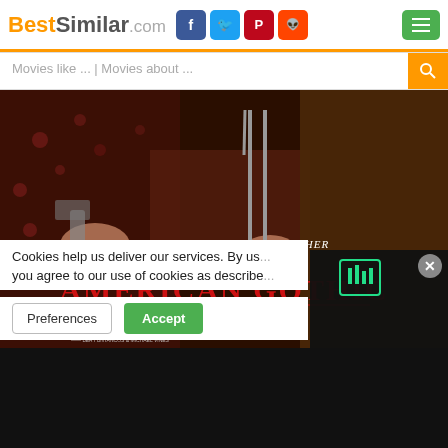BestSimilar.com
Movies like ... | Movies about ...
[Figure (photo): American Gothic movie poster showing hands holding a pitchfork and gun with tagline 'The family that slays together stays together.' and movie title 'American Gothic']
Cookies help us deliver our services. By us... you agree to our use of cookies as describe...
Preferences
Accept